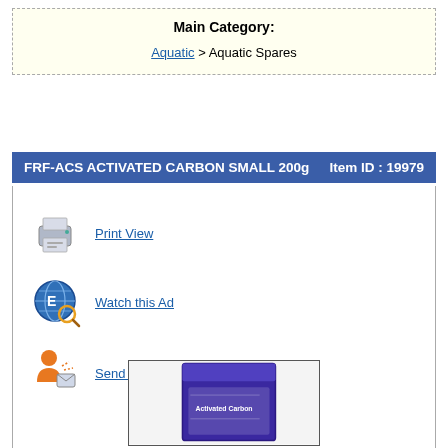Main Category:
Aquatic > Aquatic Spares
FRF-ACS ACTIVATED CARBON SMALL 200g   Item ID : 19979
Print View
Watch this Ad
Send this Ad to a Friend
[Figure (photo): Purple box of FRF-ACS Activated Carbon Small 200g product, partially visible at bottom of page]